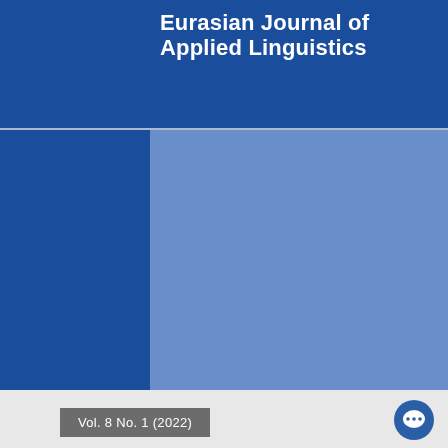Eurasian Journal of Applied Linguistics
[Figure (illustration): Journal cover with dark blue left column and lighter blue right area forming the background of the Eurasian Journal of Applied Linguistics cover.]
Vol. 8 No. 1 (2022)